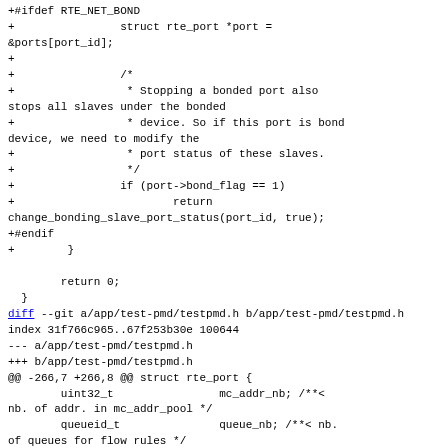Code diff showing changes to app/test-pmd/testpmd.h including struct rte_port additions and bonded port handling logic.